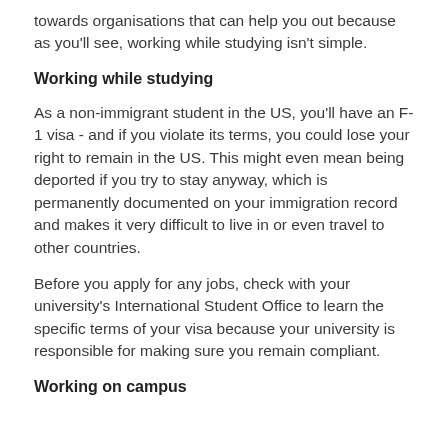towards organisations that can help you out because as you'll see, working while studying isn't simple.
Working while studying
As a non-immigrant student in the US, you'll have an F-1 visa - and if you violate its terms, you could lose your right to remain in the US. This might even mean being deported if you try to stay anyway, which is permanently documented on your immigration record and makes it very difficult to live in or even travel to other countries.
Before you apply for any jobs, check with your university's International Student Office to learn the specific terms of your visa because your university is responsible for making sure you remain compliant.
Working on campus